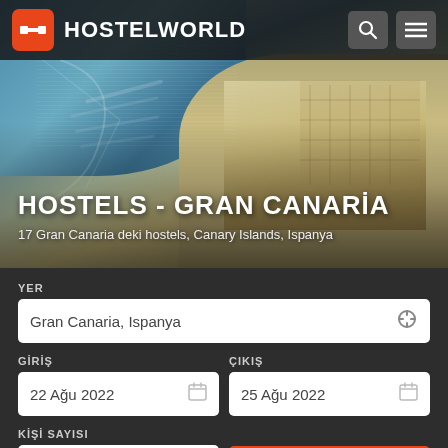[Figure (screenshot): Hostelworld mobile website screenshot showing navigation bar with logo, hero image of Gran Canaria harbor from aerial view, page title 'HOSTELS - GRAN CANARİA', subtitle '17 Gran Canaria deki hostels, Canary Islands, Ispanya', and a search form with fields for location, check-in/check-out dates, and number of guests.]
HOSTELS - GRAN CANARİA
17 Gran Canaria deki hostels, Canary Islands, Ispanya
YER
Gran Canaria, Ispanya
GİRİŞ
ÇIKIŞ
22 Ağu 2022
25 Ağu 2022
KİŞİ SAYISI
2 Kişi Sayısı
Arama